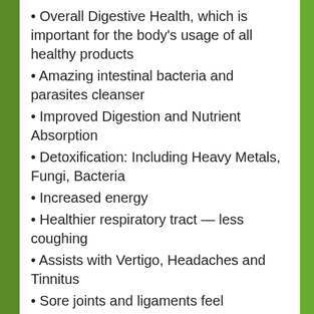Overall Digestive Health, which is important for the body's usage of all healthy products
Amazing intestinal bacteria and parasites cleanser
Improved Digestion and Nutrient Absorption
Detoxification: Including Heavy Metals, Fungi, Bacteria
Increased energy
Healthier respiratory tract — less coughing
Assists with Vertigo, Headaches and Tinnitus
Sore joints and ligaments feel dramatically better
Improves Insomnia
Menopause has less symptoms
Ingredients: